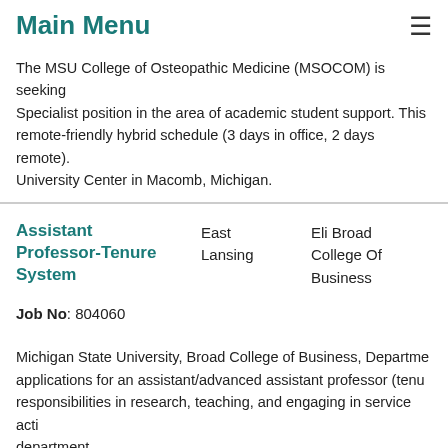Main Menu
The MSU College of Osteopathic Medicine (MSOCOM) is seeking a Specialist position in the area of academic student support. This remote-friendly hybrid schedule (3 days in office, 2 days remote). University Center in Macomb, Michigan.
Assistant Professor-Tenure System
East Lansing
Eli Broad College Of Business
FAS Fac Sta
Job No: 804060
Michigan State University, Broad College of Business, Department applications for an assistant/advanced assistant professor (tenure responsibilities in research, teaching, and engaging in service activities department.